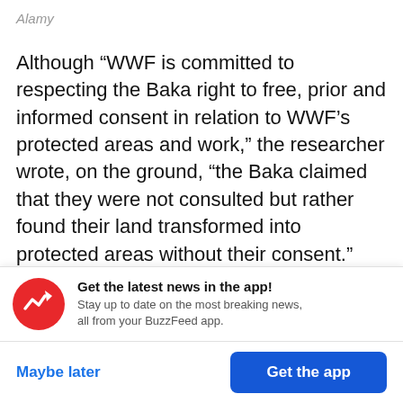Alamy
Although “WWF is committed to respecting the Baka right to free, prior and informed consent in relation to WWF’s protected areas and work,” the researcher wrote, on the ground, “the Baka claimed that they were not consulted but rather found their land transformed into protected areas without their consent.”
Yet WWF has boasted publicly about its robust
[Figure (logo): BuzzFeed app icon: red circle with white upward trending arrow]
Get the latest news in the app! Stay up to date on the most breaking news, all from your BuzzFeed app.
Maybe later
Get the app